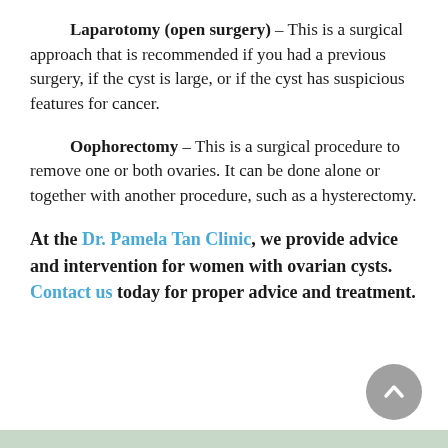Laparotomy (open surgery) – This is a surgical approach that is recommended if you had a previous surgery, if the cyst is large, or if the cyst has suspicious features for cancer.
Oophorectomy – This is a surgical procedure to remove one or both ovaries. It can be done alone or together with another procedure, such as a hysterectomy.
At the Dr. Pamela Tan Clinic, we provide advice and intervention for women with ovarian cysts. Contact us today for proper advice and treatment.
[Figure (other): Grey circular scroll-to-top button with upward chevron arrow, positioned bottom-right]